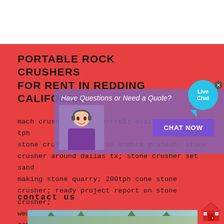PORTABLE ROCK CRUSHERS FOR RENT IN REDDING CALIFORNIA
mach crusher motor control; availability of tph stone crushing units in andhra pradesh; stone crusher around dallas tx; stone crusher set sand making stone quarry; 200tph cone stone crusher; ready project report on stone crusher; wear parts carbide; used skeet machines pa; cone crusher …
contact us
[Figure (photo): Outdoor location photo strip at bottom of page]